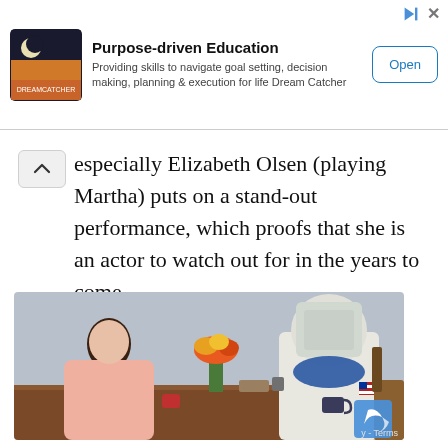[Figure (infographic): Advertisement banner for 'Purpose-driven Education' by Dream Catcher app. Shows a small app icon with moon/landscape imagery, bold title, description text, and an 'Open' button.]
especially Elizabeth Olsen (playing Martha) puts on a stand-out performance, which proofs that she is an actor to watch out for in the years to come.
[Figure (photo): A woman in a pink shirt sitting across a dining table from a man wearing a full white astronaut suit with an American flag patch, both holding mugs, with flowers in the background.]